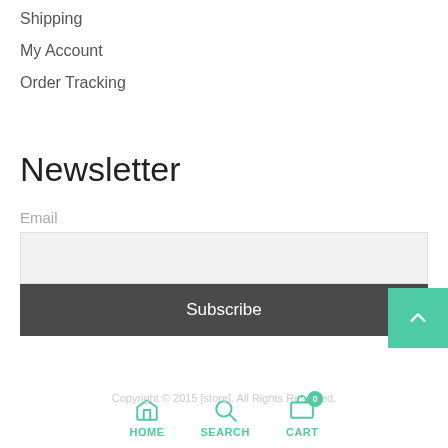Shipping
My Account
Order Tracking
Newsletter
Email
Subscribe
Copyright © 2015 [store]. All Rights Reserved.
HOME  SEARCH  CART  0